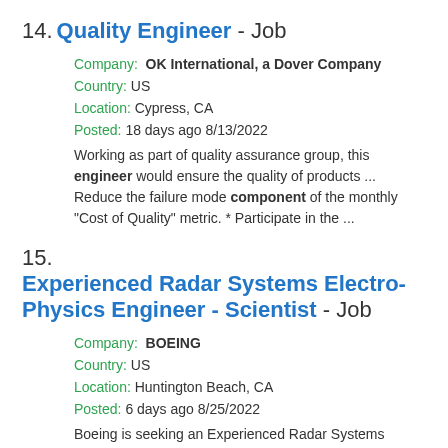14. Quality Engineer - Job
Company: OK International, a Dover Company
Country: US
Location: Cypress, CA
Posted: 18 days ago 8/13/2022
Working as part of quality assurance group, this engineer would ensure the quality of products ... Reduce the failure mode component of the monthly "Cost of Quality" metric. * Participate in the ...
15. Experienced Radar Systems Electro-Physics Engineer - Scientist - Job
Company: BOEING
Country: US
Location: Huntington Beach, CA
Posted: 6 days ago 8/25/2022
Boeing is seeking an Experienced Radar Systems Electro-Physics Engineer - Scientist (Level 3) to ... Performs trade studies, modeling, simulation and other forms of analysis to predict component ...
16. Mid-Level Mechanical Systems Design and Analyst Engineer - Job